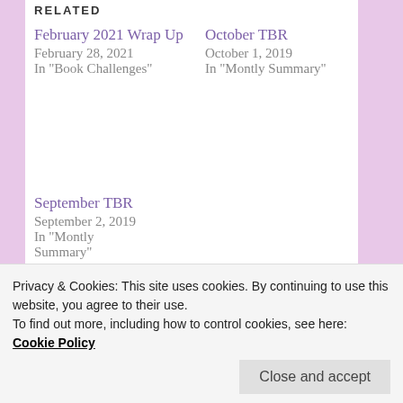RELATED
February 2021 Wrap Up
February 28, 2021
In "Book Challenges"
October TBR
October 1, 2019
In "Montly Summary"
September TBR
September 2, 2019
In "Montly Summary"
This entry was posted in Book Lists, Uncategorized and tagged 2021, bookish, books, february 2021, librofm, netgalley, tbr, to be read, young adult by unconventionalquirkybibliophile. Bookmark the
Privacy & Cookies: This site uses cookies. By continuing to use this website, you agree to their use.
To find out more, including how to control cookies, see here:
Cookie Policy
Close and accept